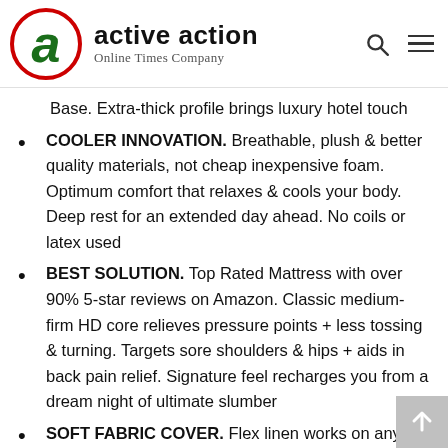active action — Online Times Company
Base. Extra-thick profile brings luxury hotel touch
COOLER INNOVATION. Breathable, plush & better quality materials, not cheap inexpensive foam. Optimum comfort that relaxes & cools your body. Deep rest for an extended day ahead. No coils or latex used
BEST SOLUTION. Top Rated Mattress with over 90% 5-star reviews on Amazon. Classic medium-firm HD core relieves pressure points + less tossing & turning. Targets sore shoulders & hips + aids in back pain relief. Signature feel recharges you from a dream night of ultimate slumber
SOFT FABRIC COVER. Flex linen works on any home furniture bedframe, box-spring or futon. Stays